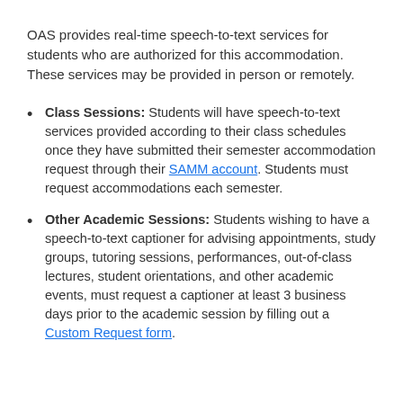OAS provides real-time speech-to-text services for students who are authorized for this accommodation. These services may be provided in person or remotely.
Class Sessions: Students will have speech-to-text services provided according to their class schedules once they have submitted their semester accommodation request through their SAMM account. Students must request accommodations each semester.
Other Academic Sessions: Students wishing to have a speech-to-text captioner for advising appointments, study groups, tutoring sessions, performances, out-of-class lectures, student orientations, and other academic events, must request a captioner at least 3 business days prior to the academic session by filling out a Custom Request form.